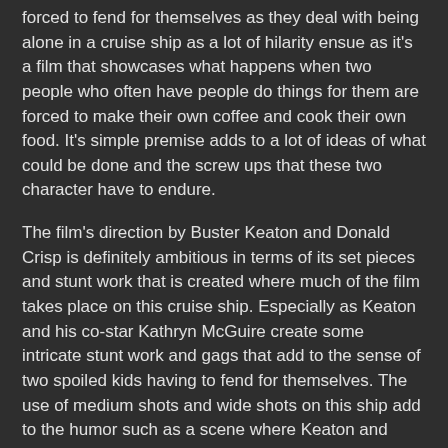forced to fend for themselves as they deal with being alone in a cruise ship as a lot of hilarity ensue as it's a film that showcases what happens when two people who often have people do things for them are forced to make their own coffee and cook their own food. It's simple premise adds to a lot of ideas of what could be done and the screw ups that these two character have to endure.
The film's direction by Buster Keaton and Donald Crisp is definitely ambitious in terms of its set pieces and stunt work that is created where much of the film takes place on this cruise ship. Especially as Keaton and his co-star Kathryn McGuire create some intricate stunt work and gags that add to the sense of two spoiled kids having to fend for themselves. The use of medium shots and wide shots on this ship add to the humor such as a scene where Keaton and McGuire are running around the ship trying to find each other as Keaton's editing would help play to that humor with some unique rhythmic cuts. Even as Keaton would slow things down to play into the sense of not knowing where he and McGuire would be shot in medium shots while each providing subtle moments into their performances. Overall,